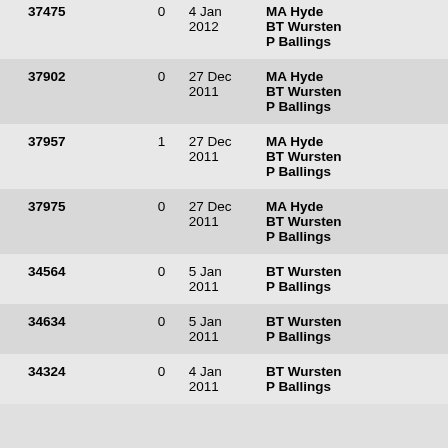| ID | Num | Date | Names |
| --- | --- | --- | --- |
| 37475 | 0 | 4 Jan 2012 | MA Hyde
BT Wursten
P Ballings |
| 37902 | 0 | 27 Dec 2011 | MA Hyde
BT Wursten
P Ballings |
| 37957 | 1 | 27 Dec 2011 | MA Hyde
BT Wursten
P Ballings |
| 37975 | 0 | 27 Dec 2011 | MA Hyde
BT Wursten
P Ballings |
| 34564 | 0 | 5 Jan 2011 | BT Wursten
P Ballings |
| 34634 | 0 | 5 Jan 2011 | BT Wursten
P Ballings |
| 34324 | 0 | 4 Jan 2011 | BT Wursten
P Ballings |